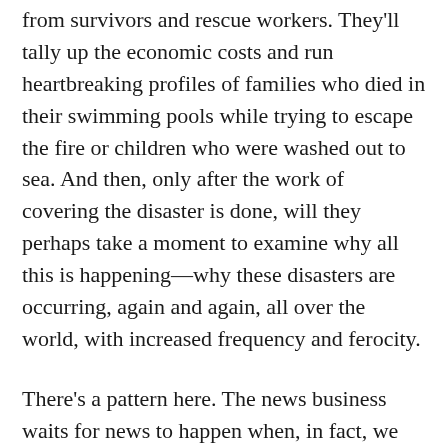from survivors and rescue workers. They'll tally up the economic costs and run heartbreaking profiles of families who died in their swimming pools while trying to escape the fire or children who were washed out to sea. And then, only after the work of covering the disaster is done, will they perhaps take a moment to examine why all this is happening—why these disasters are occurring, again and again, all over the world, with increased frequency and ferocity.
There's a pattern here. The news business waits for news to happen when, in fact, we shouldn't need another Black person to be shot to start reporting on racism in the police force. Nor should we need yet another Category Five hurricane to flatten yet another community before we sound the alarm the planet is on the brink of climate collapse.